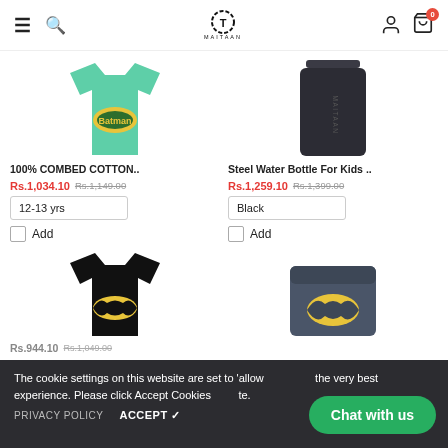MAITAAN navigation header with hamburger menu, search, logo, user icon, cart (0)
[Figure (photo): Green mint batman t-shirt with yellow oval logo]
100% COMBED COTTON..
Rs.1,034.10 Rs.1,149.00
12-13 yrs
Add
[Figure (photo): Dark steel water bottle for kids]
Steel Water Bottle For Kids ..
Rs.1,259.10 Rs.1,399.00
Black
Add
[Figure (photo): Black batman t-shirt with yellow batman logo]
[Figure (photo): Grey batman school bag/lunchbox with yellow batman logo]
Rs.944.10 Rs.1,049.00
The cookie settings on this website are set to 'allow... the very best experience. Please click Accept Cookies ... te.
PRIVACY POLICY
ACCEPT ✓
Chat with us